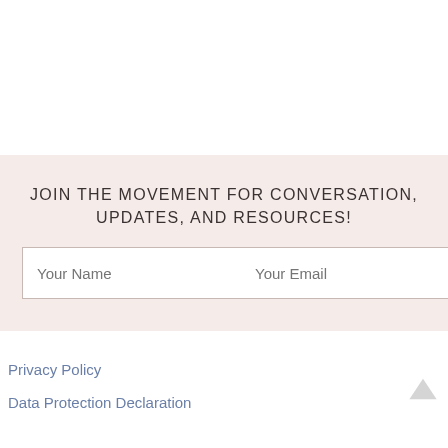JOIN THE MOVEMENT FOR CONVERSATION, UPDATES, AND RESOURCES!
Your Name | Your Email | Subscribe
Privacy Policy
Data Protection Declaration